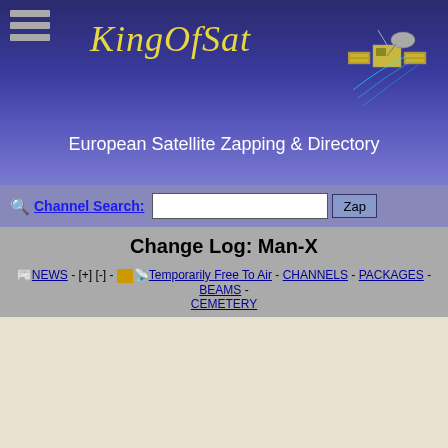KingOfSat - European Satellite Zapping & Directory
Channel Search: [input] Zap
Change Log: Man-X
NEWS - [+] [-] - Temporarily Free To Air - CHANNELS - PACKAGES - BEAMS - CEMETERY